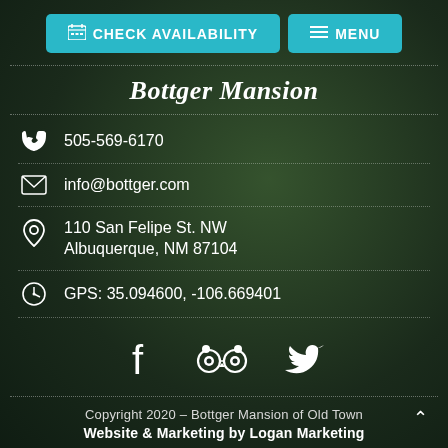CHECK AVAILABILITY   MENU
Bottger Mansion
505-569-6170
info@bottger.com
110 San Felipe St. NW
Albuquerque, NM 87104
GPS: 35.094600, -106.669401
[Figure (illustration): Social media icons: Facebook, TripAdvisor, Twitter]
Copyright 2020 – Bottger Mansion of Old Town
Website & Marketing by Logan Marketing